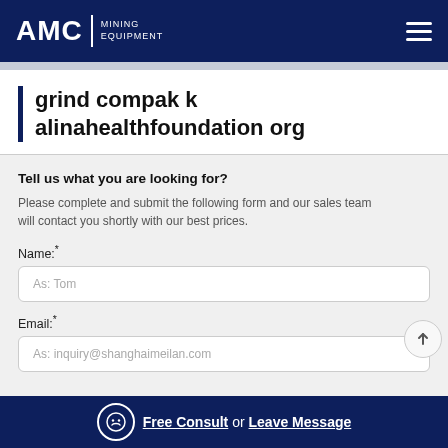AMC MINING EQUIPMENT
grind compak k alinahealthfoundation org
Tell us what you are looking for?
Please complete and submit the following form and our sales team will contact you shortly with our best prices.
Name:*
As: Tom
Email:*
As: inquiry@shanghaimeilan.com
Free Consult or Leave Message